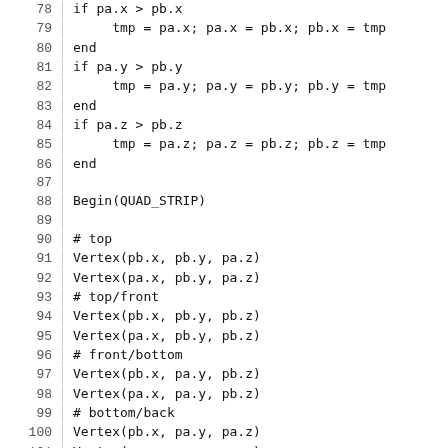Code listing lines 78-107: coordinate sorting and QUAD_STRIP vertex rendering
78: if pa.x > pb.x
79:     tmp = pa.x; pa.x = pb.x; pb.x = tmp
80: end
81: if pa.y > pb.y
82:     tmp = pa.y; pa.y = pb.y; pb.y = tmp
83: end
84: if pa.z > pb.z
85:     tmp = pa.z; pa.z = pb.z; pb.z = tmp
86: end
87: (blank)
88: Begin(QUAD_STRIP)
89: (blank)
90: # top
91: Vertex(pb.x, pb.y, pa.z)
92: Vertex(pa.x, pb.y, pa.z)
93: # top/front
94: Vertex(pb.x, pb.y, pb.z)
95: Vertex(pa.x, pb.y, pb.z)
96: # front/bottom
97: Vertex(pb.x, pa.y, pb.z)
98: Vertex(pa.x, pa.y, pb.z)
99: # bottom/back
100: Vertex(pb.x, pa.y, pa.z)
101: Vertex(pa.x, pa.y, pa.z)
102: # back/top
103: Vertex(pb.x, pb.y, pa.z)
104: Vertex(pa.x, pb.y, pa.z)
105: (blank)
106: End()
107: (blank)